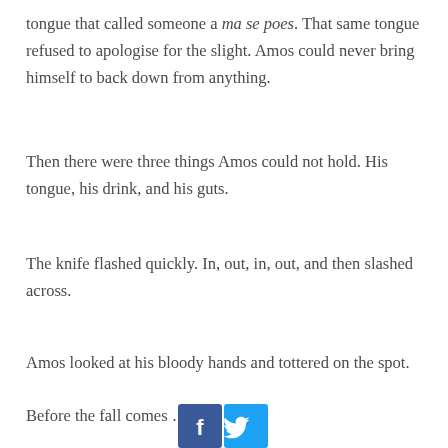tongue that called someone a ma se poes. That same tongue refused to apologise for the slight. Amos could never bring himself to back down from anything.
Then there were three things Amos could not hold. His tongue, his drink, and his guts.
The knife flashed quickly. In, out, in, out, and then slashed across.
Amos looked at his bloody hands and tottered on the spot.
Before the fall comes …
[Figure (other): Social media share buttons: Facebook (blue, 'f') and Twitter (light blue, bird icon)]